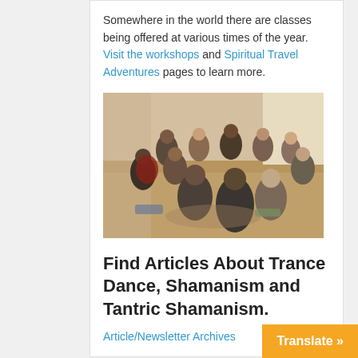Somewhere in the world there are classes being offered at various times of the year. Visit the workshops and Spiritual Travel Adventures pages to learn more.
[Figure (photo): Group of people sitting in a circle on the floor in a large room, appearing to be in a workshop or meditation class setting]
Find Articles About Trance Dance, Shamanism and Tantric Shamanism.
Article/Newsletter Archives